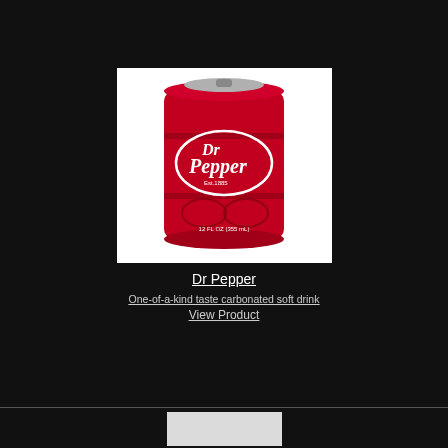[Figure (photo): A red Dr Pepper soda can labeled '12 FL OZ (355 mL)' with the Dr Pepper logo on a white background]
Dr Pepper
One-of-a-kind taste carbonated soft drink
View Product